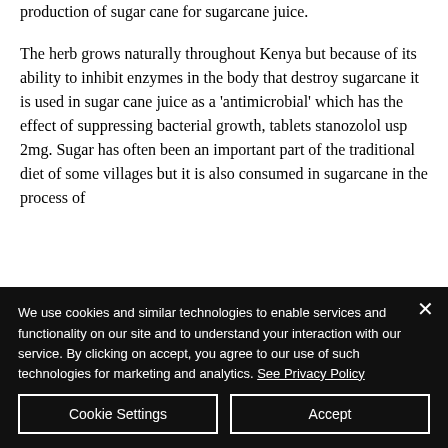production of sugar cane for sugarcane juice.
The herb grows naturally throughout Kenya but because of its ability to inhibit enzymes in the body that destroy sugarcane it is used in sugar cane juice as a 'antimicrobial' which has the effect of suppressing bacterial growth, tablets stanozolol usp 2mg. Sugar has often been an important part of the traditional diet of some villages but it is also consumed in sugarcane in the process of
We use cookies and similar technologies to enable services and functionality on our site and to understand your interaction with our service. By clicking on accept, you agree to our use of such technologies for marketing and analytics. See Privacy Policy